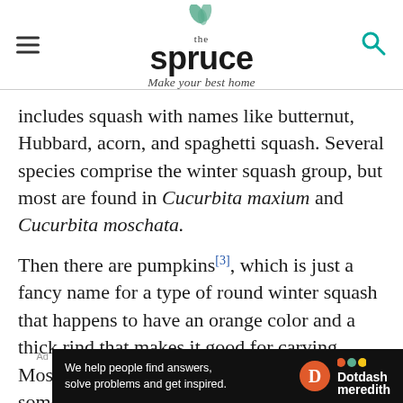the spruce — Make your best home
includes squash with names like butternut, Hubbard, acorn, and spaghetti squash. Several species comprise the winter squash group, but most are found in Cucurbita maxium and Cucurbita moschata.
Then there are pumpkins[3], which is just a fancy name for a type of round winter squash that happens to have an orange color and a thick rind that makes it good for carving. Most are members of Cucurbita pepo, but some fall into other squash species.
[Figure (logo): Dotdash Meredith advertisement banner — black background with text 'We help people find answers, solve problems and get inspired.' and Dotdash Meredith logo]